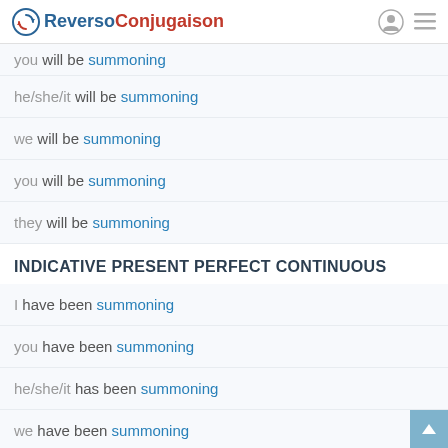Reverso Conjugaison
you will be summoning
he/she/it will be summoning
we will be summoning
you will be summoning
they will be summoning
INDICATIVE PRESENT PERFECT CONTINUOUS
I have been summoning
you have been summoning
he/she/it has been summoning
we have been summoning